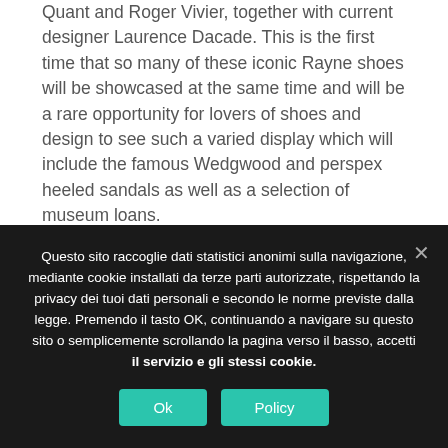Quant and Roger Vivier, together with current designer Laurence Dacade. This is the first time that so many of these iconic Rayne shoes will be showcased at the same time and will be a rare opportunity for lovers of shoes and design to see such a varied display which will include the famous Wedgwood and perspex heeled sandals as well as a selection of museum loans.
The Fashion and Textile Museum is located at 83 Bermondsey Street, London SE1 3XF. Exhibition opening times: Tuesday-Sunday, 11am-6pm;
Questo sito raccoglie dati statistici anonimi sulla navigazione, mediante cookie installati da terze parti autorizzate, rispettando la privacy dei tuoi dati personali e secondo le norme previste dalla legge. Premendo il tasto OK, continuando a navigare su questo sito o semplicemente scrollando la pagina verso il basso, accetti il servizio e gli stessi cookie.